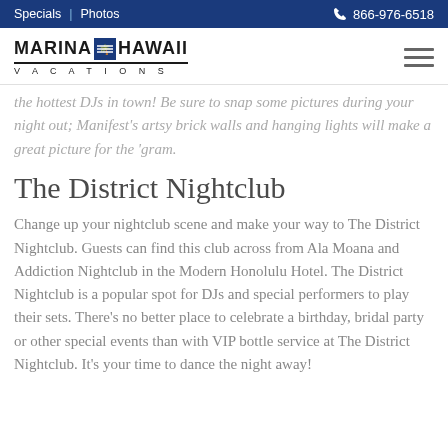Specials | Photos   866-976-6518
[Figure (logo): Marina Hawaii Vacations logo with palm tree icon and 'VACATIONS' text below]
...the hottest DJs in town! Be sure to snap some pictures during your night out; Manifest’s artsy brick walls and hanging lights will make a great picture for the ‘gram.
The District Nightclub
Change up your nightclub scene and make your way to The District Nightclub. Guests can find this club across from Ala Moana and Addiction Nightclub in the Modern Honolulu Hotel. The District Nightclub is a popular spot for DJs and special performers to play their sets. There’s no better place to celebrate a birthday, bridal party or other special events than with VIP bottle service at The District Nightclub. It’s your time to dance the night away!